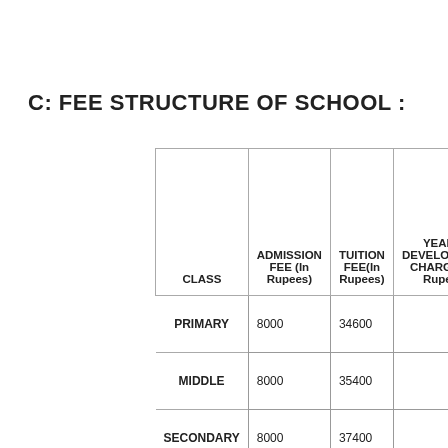C: FEE STRUCTURE OF SCHOOL :
| CLASS | ADMISSION FEE (In Rupees) | TUITION FEE(In Rupees) | YEARLY DEVELOPMENT CHARGES(In Rupees) | ANNUAL CHARGES (In Rupees) |
| --- | --- | --- | --- | --- |
| PRIMARY | 8000 | 34600 |  |  |
| MIDDLE | 8000 | 35400 |  |  |
| SECONDARY | 8000 | 37400 |  |  |
| SENIOR SECONDARY | 8000 | 46400 |  |  |